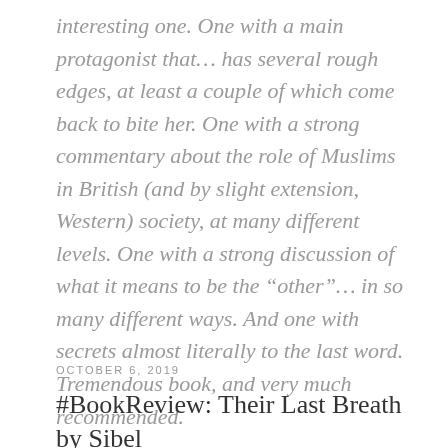interesting one. One with a main protagonist that… has several rough edges, at least a couple of which come back to bite her. One with a strong commentary about the role of Muslims in British (and by slight extension, Western) society, at many different levels. One with a strong discussion of what it means to be the “other”… in so many different ways. And one with secrets almost literally to the last word. Tremendous book, and very much recommended.
OCTOBER 6, 2019
#BookReview: Their Last Breath by Sibel